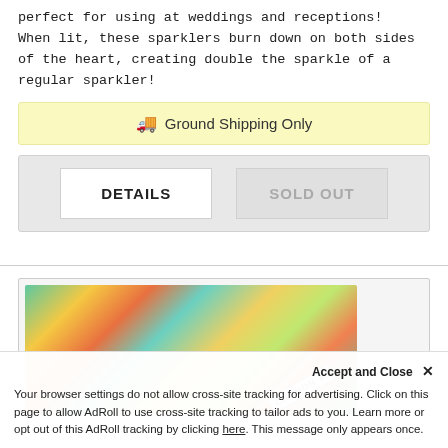perfect for using at weddings and receptions! When lit, these sparklers burn down on both sides of the heart, creating double the sparkle of a regular sparkler!
🚚 Ground Shipping Only
DETAILS
SOLD OUT
[Figure (photo): Colorful confetti cannon product image with white cylinder labeled CANNON on a multicolored bright background]
Accept and Close ✕
Your browser settings do not allow cross-site tracking for advertising. Click on this page to allow AdRoll to use cross-site tracking to tailor ads to you. Learn more or opt out of this AdRoll tracking by clicking here. This message only appears once.